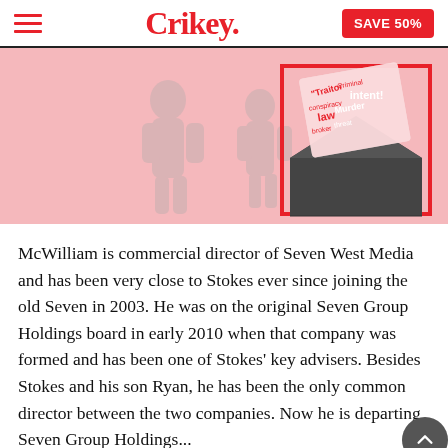Crikey. | SAVE 50%
[Figure (illustration): Pink background illustration with a dark envelope containing a letter with words like 'Traitor', 'Criminal', 'Murder', 'intent' in red box, with grey silhouettes on the left side.]
McWilliam is commercial director of Seven West Media and has been very close to Stokes ever since joining the old Seven in 2003. He was on the original Seven Group Holdings board in early 2010 when that company was formed and has been one of Stokes' key advisers. Besides Stokes and his son Ryan, he has been the only common director between the two companies. Now he is departing Seven Group Holdings...